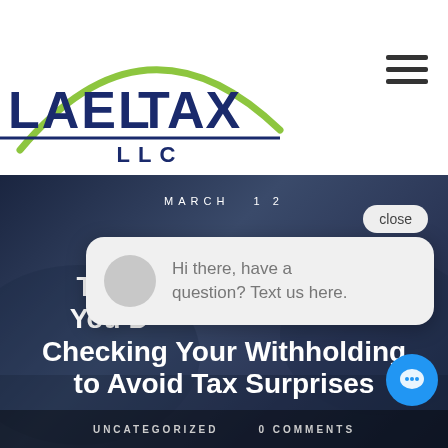[Figure (logo): LAEL TAX LLC logo with green arc and dark blue text on white background]
[Figure (screenshot): Hamburger menu icon (three horizontal lines) in top right corner]
[Figure (photo): Dark hero image with car interior background showing person, overlaid with blog post title text, date MARCH 12, and category bar]
MARCH 12
Tax Cu... You D... Checking Your Withholding to Avoid Tax Surprises
UNCATEGORIZED   0 COMMENTS
[Figure (screenshot): Chat popup widget showing 'close' button and message: Hi there, have a question? Text us here.]
Hi there, have a question? Text us here.